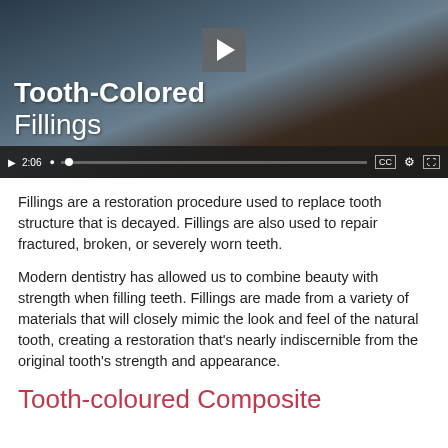[Figure (screenshot): Video thumbnail showing two people at a restaurant/café table with text overlay 'Tooth-Colored Fillings' and video player controls showing duration 2:06]
Fillings are a restoration procedure used to replace tooth structure that is decayed. Fillings are also used to repair fractured, broken, or severely worn teeth.
Modern dentistry has allowed us to combine beauty with strength when filling teeth. Fillings are made from a variety of materials that will closely mimic the look and feel of the natural tooth, creating a restoration that's nearly indiscernible from the original tooth's strength and appearance.
Tooth-coloured Composite